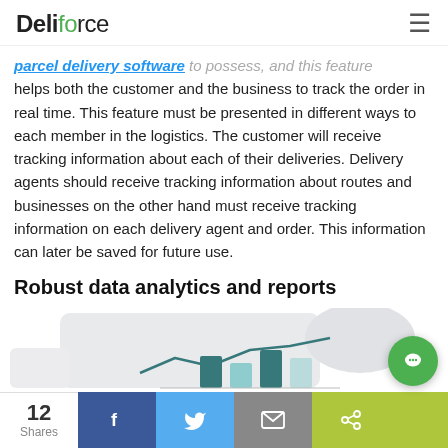Deliforce [hamburger menu icon]
parcel delivery software to possess, and this feature helps both the customer and the business to track the order in real time. This feature must be presented in different ways to each member in the logistics. The customer will receive tracking information about each of their deliveries. Delivery agents should receive tracking information about routes and businesses on the other hand must receive tracking information on each delivery agent and order. This information can later be saved for future use.
Robust data analytics and reports
[Figure (illustration): Data analytics illustration showing a bar chart and line graph on a light grey background]
12 Shares | Facebook | Twitter | Email | Share